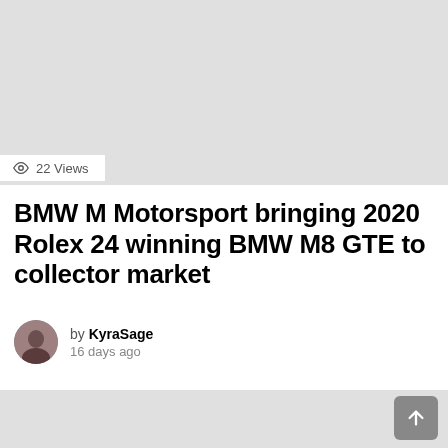[Figure (photo): Top image placeholder — light gray rectangle representing a photo]
22 Views
BMW M Motorsport bringing 2020 Rolex 24 winning BMW M8 GTE to collector market
by KyraSage
16 days ago
[Figure (photo): Bottom image placeholder — light gray rectangle representing a second photo]